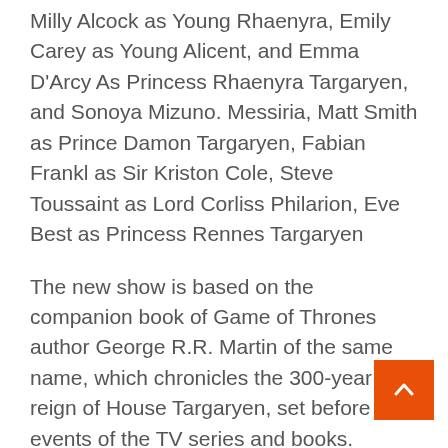Milly Alcock as Young Rhaenyra, Emily Carey as Young Alicent, and Emma D'Arcy As Princess Rhaenyra Targaryen, and Sonoya Mizuno. Messiria, Matt Smith as Prince Damon Targaryen, Fabian Frankl as Sir Kriston Cole, Steve Toussaint as Lord Corliss Philarion, Eve Best as Princess Rennes Targaryen
The new show is based on the companion book of Game of Thrones author George R.R. Martin of the same name, which chronicles the 300-year reign of House Targaryen, set before the events of the TV series and books.
Doctor Who Matt Smith has captured the lead role of dragon rider Prince Damon Targaryen, the younger brother of King Physeris.
Matt, 39, previously claimed that the new show was